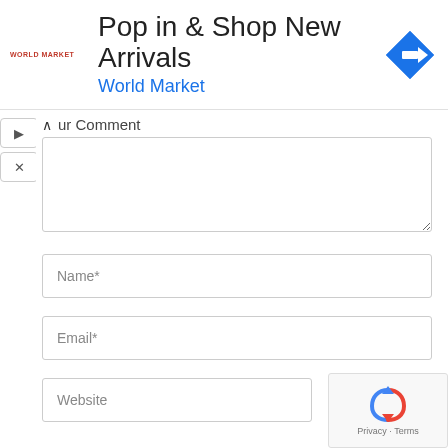[Figure (screenshot): Advertisement banner for World Market: 'Pop in & Shop New Arrivals' with World Market logo text in red and blue subtitle, and a blue navigation arrow icon on the right.]
ur Comment
Name*
Email*
Website
[Figure (logo): Google reCAPTCHA badge showing rotating arrows icon with 'Privacy · Terms' text below.]